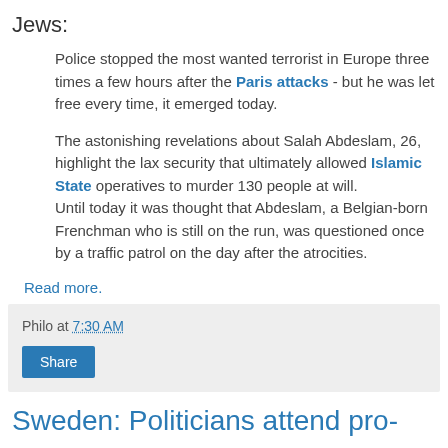Jews:
Police stopped the most wanted terrorist in Europe three times a few hours after the Paris attacks - but he was let free every time, it emerged today.

The astonishing revelations about Salah Abdeslam, 26, highlight the lax security that ultimately allowed Islamic State operatives to murder 130 people at will.
Until today it was thought that Abdeslam, a Belgian-born Frenchman who is still on the run, was questioned once by a traffic patrol on the day after the atrocities.
Read more.
Philo at 7:30 AM
Share
Sweden: Politicians attend pro-